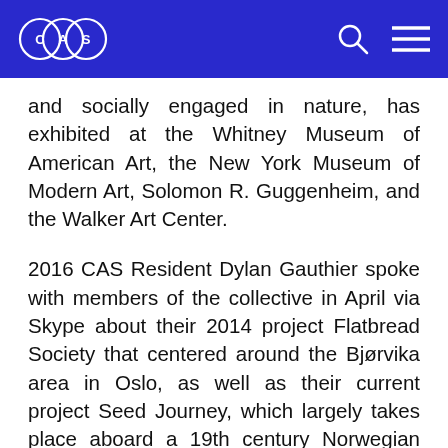CAS logo, search and menu icons
and socially engaged in nature, has exhibited at the Whitney Museum of American Art, the New York Museum of Modern Art, Solomon R. Guggenheim, and the Walker Art Center.
2016 CAS Resident Dylan Gauthier spoke with members of the collective in April via Skype about their 2014 project Flatbread Society that centered around the Bjørvika area in Oslo, as well as their current project Seed Journey, which largely takes place aboard a 19th century Norwegian rescue ship. Below is an in-depth discussion on the relationship between